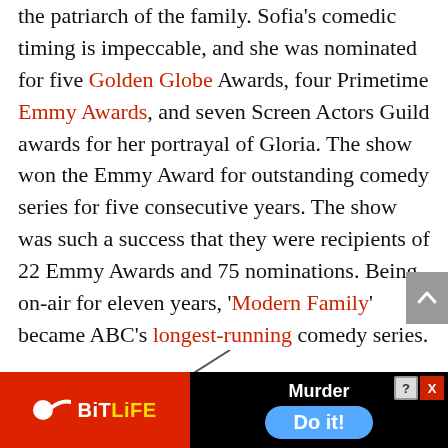the patriarch of the family. Sofia's comedic timing is impeccable, and she was nominated for five Golden Globe Awards, four Primetime Emmy Awards, and seven Screen Actors Guild awards for her portrayal of Gloria. The show won the Emmy Award for outstanding comedy series for five consecutive years. The show was such a success that they were recipients of 22 Emmy Awards and 75 nominations. Being on-air for eleven years, 'Modern Family' became ABC's longest-running comedy series.

With 'Modern Family,' Sofia Vergara literally hit the jackpot. 'Modern Family' shaped her career, and it allowed her to be able to do wh... bil...
[Figure (other): Advertisement banner at the bottom: BitLife game ad with 'Murder Do it!' call to action, red background on left with sperm icon and yellow BitLife logo, black background on right with blue oval button.]